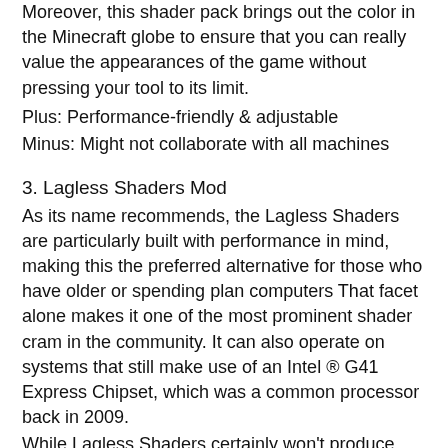Moreover, this shader pack brings out the color in the Minecraft globe to ensure that you can really value the appearances of the game without pressing your tool to its limit.
Plus: Performance-friendly & adjustable
Minus: Might not collaborate with all machines
3. Lagless Shaders Mod
As its name recommends, the Lagless Shaders are particularly built with performance in mind, making this the preferred alternative for those who have older or spending plan computers That facet alone makes it one of the most prominent shader cram in the community. It can also operate on systems that still make use of an Intel ® G41 Express Chipset, which was a common processor back in 2009.
While Lagless Shaders certainly won't produce quite as several impacts as some of the various other